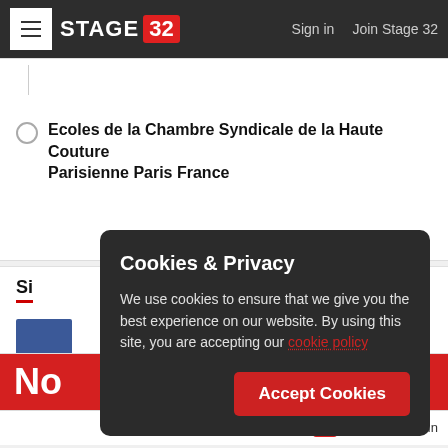STAGE 32 — Sign in   Join Stage 32
Ecoles de la Chambre Syndicale de la Haute Couture Parisienne Paris France
Cookies & Privacy
We use cookies to ensure that we give you the best experience on our website. By using this site, you are accepting our cookie policy
Accept Cookies
No
32 Register / Log In